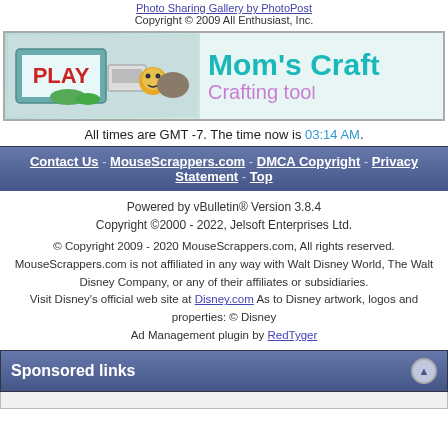Photo Sharing Gallery by PhotoPost
Copyright © 2009 All Enthusiast, Inc.
[Figure (illustration): Mom's Craft banner advertisement showing crafting tools and supplies with teal and purple text]
All times are GMT -7. The time now is 03:14 AM.
Contact Us - MouseScrappers.com - DMCA Copyright - Privacy Statement - Top
Powered by vBulletin® Version 3.8.4
Copyright ©2000 - 2022, Jelsoft Enterprises Ltd.
© Copyright 2009 - 2020 MouseScrappers.com, All rights reserved. MouseScrappers.com is not affiliated in any way with Walt Disney World, The Walt Disney Company, or any of their affiliates or subsidiaries. Visit Disney's official web site at Disney.com As to Disney artwork, logos and properties: © Disney
Ad Management plugin by RedTyger
Sponsored links